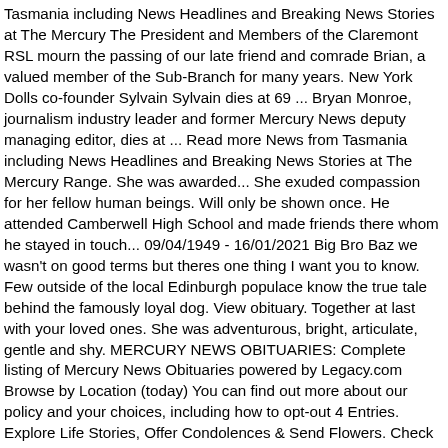Tasmania including News Headlines and Breaking News Stories at The Mercury The President and Members of the Claremont RSL mourn the passing of our late friend and comrade Brian, a valued member of the Sub-Branch for many years. New York Dolls co-founder Sylvain Sylvain dies at 69 ... Bryan Monroe, journalism industry leader and former Mercury News deputy managing editor, dies at ... Read more News from Tasmania including News Headlines and Breaking News Stories at The Mercury Range. She was awarded... She exuded compassion for her fellow human beings. Will only be shown once. He attended Camberwell High School and made friends there whom he stayed in touch... 09/04/1949 - 16/01/2021 Big Bro Baz we wasn't on good terms but theres one thing I want you to know. Few outside of the local Edinburgh populace know the true tale behind the famously loyal dog. View obituary. Together at last with your loved ones. She was adventurous, bright, articulate, gentle and shy. MERCURY NEWS OBITUARIES: Complete listing of Mercury News Obituaries powered by Legacy.com Browse by Location (today) You can find out more about our policy and your choices, including how to opt-out 4 Entries. Explore Life Stories, Offer Condolences & Send Flowers. Check Out San Jose Mercury News Latest News Today! Passed away at Mountainview Rest Home, Kawerau NZ. View Obituary. Receive obituaries Margaret Helen Lockeridge Griffith, New South Wales. The Mercury News is the leading source of breaking news, local news, sports, business, entertainment, lifestyle and opinion for Silicon Valley, San Francisco Bay Aro...